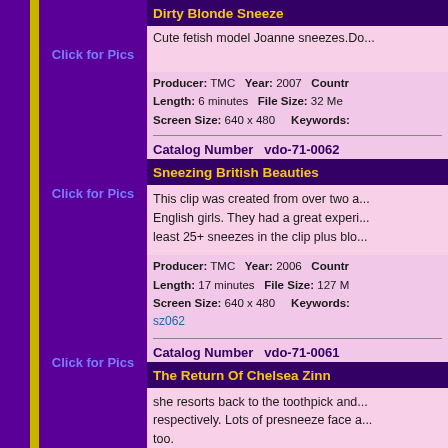Dirty Blonde Sneeze
Cute fetish model Joanne sneezes.Do...
Producer: TMC   Year: 2007   Countr...   Length: 6 minutes   File Size: 32 Me...   Screen Size: 640 x 480   Keywords:...
Catalog Number   vdo-71-0062
Sneezing British Beauties
This clip was created from over two a... English girls. They had a great experi... least 25+ sneezes in the clip plus blo...
Producer: TMC   Year: 2006   Countr...   Length: 17 minutes   File Size: 127 M...   Screen Size: 640 x 480   Keywords:... sz062
Catalog Number   vdo-71-0061
The Return Of Chelsea Zinn
she resorts back to the toothpick and... respectively. Lots of presneeze face a... too.
Click for Pics
Click for Pics
Click for Pics